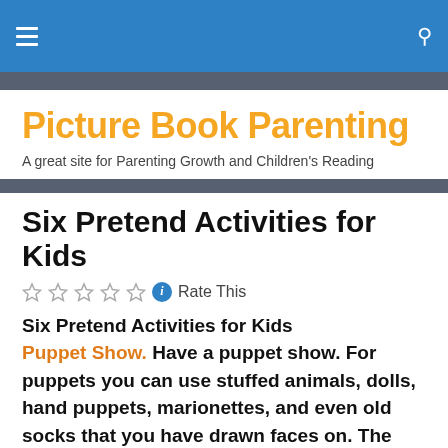Picture Book Parenting — site navigation bar
Picture Book Parenting
A great site for Parenting Growth and Children's Reading
Six Pretend Activities for Kids
Rate This
Six Pretend Activities for Kids
Puppet Show. Have a puppet show. For puppets you can use stuffed animals, dolls, hand puppets, marionettes, and even old socks that you have drawn faces on. The show can be inside or outside. A stage can be a chair, table, box, etc. Make up the story and